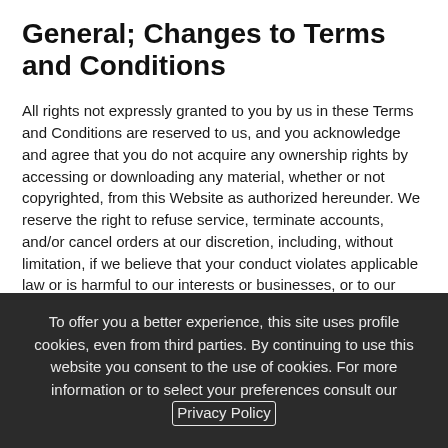General; Changes to Terms and Conditions
All rights not expressly granted to you by us in these Terms and Conditions are reserved to us, and you acknowledge and agree that you do not acquire any ownership rights by accessing or downloading any material, whether or not copyrighted, from this Website as authorized hereunder. We reserve the right to refuse service, terminate accounts, and/or cancel orders at our discretion, including, without limitation, if we believe that your conduct violates applicable law or is harmful to our interests or businesses, or to our customers, affiliates, licensors or licensees.
We reserve the right to refuse service, terminate accounts, remove or edit content, or cancel orders at our discretion, including, but not limited to, if we believe that customer conduct violates applicable law or is harmful to our interests or the interests of any of our customers, affiliates, licensors or licensees.
To offer you a better experience, this site uses profile cookies, even from third parties. By continuing to use this website you consent to the use of cookies. For more information or to select your preferences consult our Privacy Policy